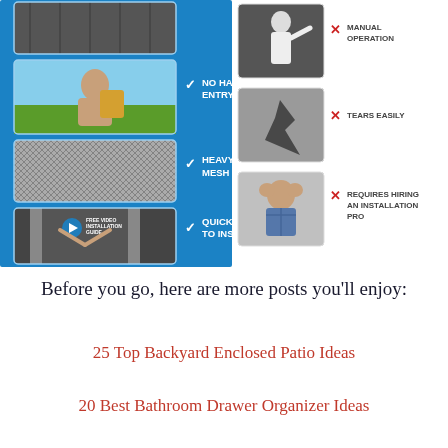[Figure (infographic): Product comparison infographic showing a magnetic screen door (left, blue panel) vs competitors (right). Left panel shows three product images with checkmarks: NO HANDS ENTRY, HEAVY DUTY MESH, QUICK & EASY TO INSTALL. Right panel shows competitor images with X marks: MANUAL OPERATION, TEARS EASILY, REQUIRES HIRING AN INSTALLATION PRO.]
Before you go, here are more posts you'll enjoy:
25 Top Backyard Enclosed Patio Ideas
20 Best Bathroom Drawer Organizer Ideas